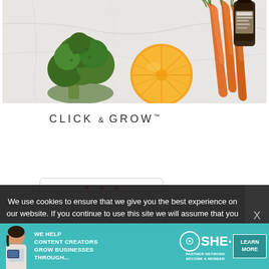[Figure (photo): Overhead flat-lay photo of fresh vegetables and fruits on a white marble surface: broccoli on the left, a halved orange in the center, carrots on the right, and a dark bottle of sauce/condiment in the upper right corner.]
[Figure (logo): Click and Grow logo in spaced uppercase letters with trademark symbol]
[Figure (photo): Bottom portion of a white rectangular product (Click and Grow smart garden planter) with rounded corners and red indicator dots visible at the top edge.]
We use cookies to ensure that we give you the best experience on our website. If you continue to use this site we will assume that you are happy with it.
[Figure (infographic): SHE Partner Network advertisement banner: teal background with a woman holding a tablet on the left, bold white text 'WE HELP CONTENT CREATORS GROW BUSINESSES THROUGH...', SHE Partner Network logo in center, and a 'LEARN MORE' button on the right.]